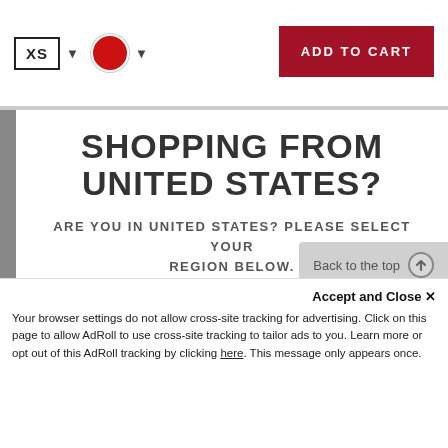[Figure (screenshot): Top navigation bar with XS size selector, red color swatch dropdown, and ADD TO CART button in dark red]
SHOPPING FROM UNITED STATES?
ARE YOU IN UNITED STATES? PLEASE SELECT YOUR REGION BELOW.
SHOP AUSTRALIA >
CONTINUE SHOPPING IN USA >
Back to the top
Accept and Close ✕
Your browser settings do not allow cross-site tracking for advertising. Click on this page to allow AdRoll to use cross-site tracking to tailor ads to you. Learn more or opt out of this AdRoll tracking by clicking here. This message only appears once.